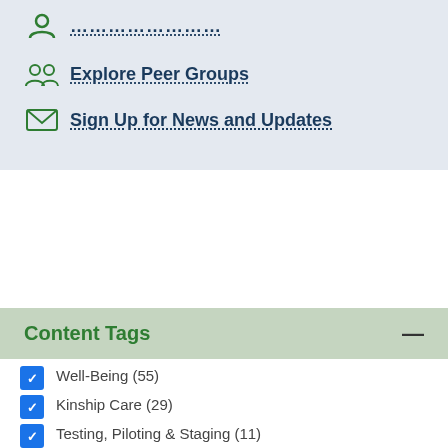……………… (truncated link)
Explore Peer Groups
Sign Up for News and Updates
Content Tags
Well-Being (55)
Kinship Care (29)
Testing, Piloting & Staging (11)
Engaging Partners to Achieve Timely Permanency: Series (5)
Out-of-Home Services (148)